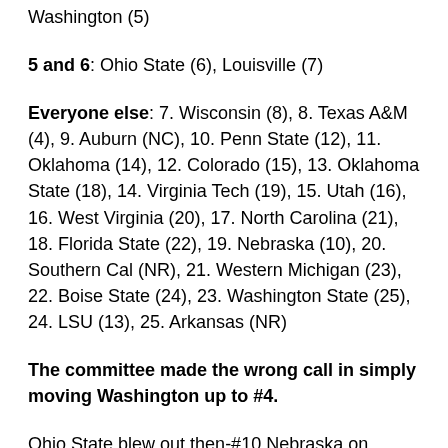Washington (5)
5 and 6: Ohio State (6), Louisville (7)
Everyone else: 7. Wisconsin (8), 8. Texas A&M (4), 9. Auburn (NC), 10. Penn State (12), 11. Oklahoma (14), 12. Colorado (15), 13. Oklahoma State (18), 14. Virginia Tech (19), 15. Utah (16), 16. West Virginia (20), 17. North Carolina (21), 18. Florida State (22), 19. Nebraska (10), 20. Southern Cal (NR), 21. Western Michigan (23), 22. Boise State (24), 23. Washington State (25), 24. LSU (13), 25. Arkansas (NR)
The committee made the wrong call in simply moving Washington up to #4.
Ohio State blew out then-#10 Nebraska on Saturday. I thought that given the fact that their win (on paper)